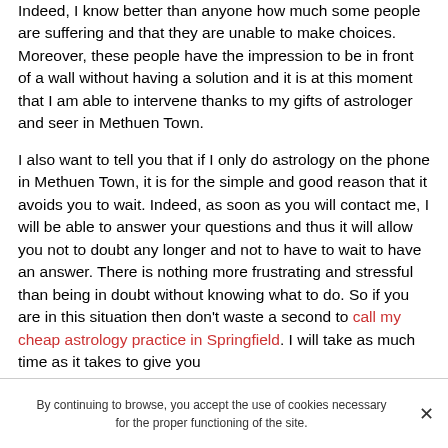Indeed, I know better than anyone how much some people are suffering and that they are unable to make choices. Moreover, these people have the impression to be in front of a wall without having a solution and it is at this moment that I am able to intervene thanks to my gifts of astrologer and seer in Methuen Town.
I also want to tell you that if I only do astrology on the phone in Methuen Town, it is for the simple and good reason that it avoids you to wait. Indeed, as soon as you will contact me, I will be able to answer your questions and thus it will allow you not to doubt any longer and not to have to wait to have an answer. There is nothing more frustrating and stressful than being in doubt without knowing what to do. So if you are in this situation then don't waste a second to call my cheap astrology practice in Springfield. I will take as much time as it takes to give you
By continuing to browse, you accept the use of cookies necessary for the proper functioning of the site.